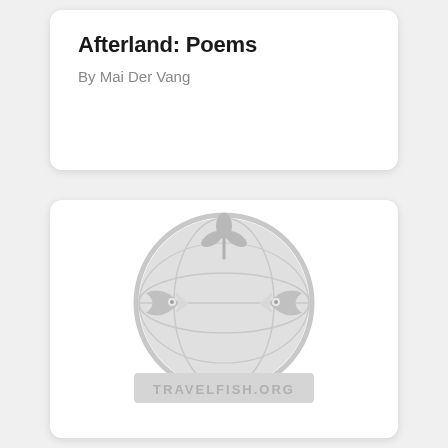Afterland: Poems
By Mai Der Vang
[Figure (logo): Travelfish.org watermark logo — a circular emblem featuring two fish facing each other with a plant/sprout growing from the top center, all in light gray. Below the circle is the text 'TRAVELFISH.ORG' in gray capital letters.]